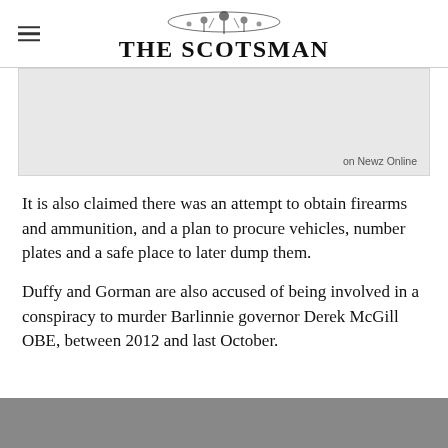THE SCOTSMAN
[Figure (other): Advertisement banner with 'on Newz Online' label in bottom right]
It is also claimed there was an attempt to obtain firearms and ammunition, and a plan to procure vehicles, number plates and a safe place to later dump them.
Duffy and Gorman are also accused of being involved in a conspiracy to murder Barlinnie governor Derek McGill OBE, between 2012 and last October.